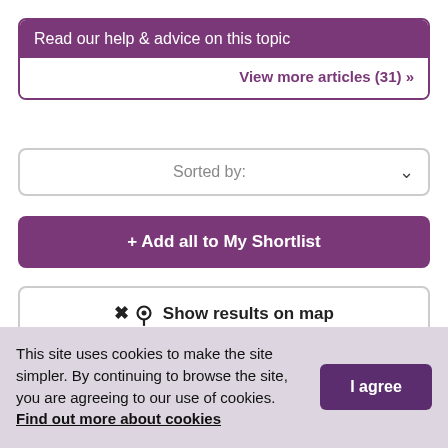Read our help & advice on this topic
View more articles (31) »
Sorted by:
+ Add all to My Shortlist
❖ Show results on map
Showing 605 search results
This site uses cookies to make the site simpler. By continuing to browse the site, you are agreeing to our use of cookies. Find out more about cookies
I agree